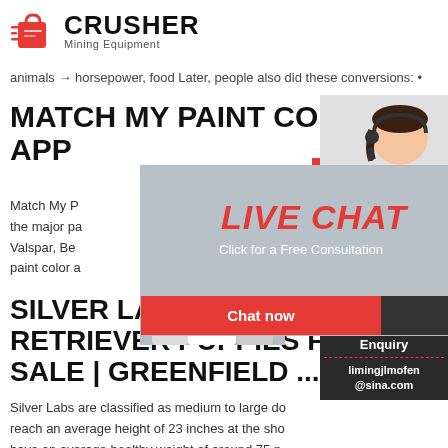[Figure (logo): Crusher Mining Equipment logo with red shopping bag icon and bold black CRUSHER text]
animals → horsepower, food Later, people also did these conversions: •
MATCH MY PAINT COLOR APP
Match My Paint color. the major pa Valspar, Ben paint color a
[Figure (screenshot): Live Chat popup overlay with construction workers, LIVE CHAT text in red italic, Click for a Free Consultation subtitle, Chat now (red) and Chat later (dark) buttons]
SILVER LABRADOR RETRIEVER PUPPIES FO SALE | GREENFIELD ...
Silver Labs are classified as medium to large do reach an average height of 23 inches at the sho have an average healthy weight of around 75 po Silver labs are Ratch... will...really 10 to 14
24Hrs Online
[Figure (photo): Customer service representative with headset]
Need questions & suggestion?
Chat Now
Enquiry
limingjlmofen@sina.com